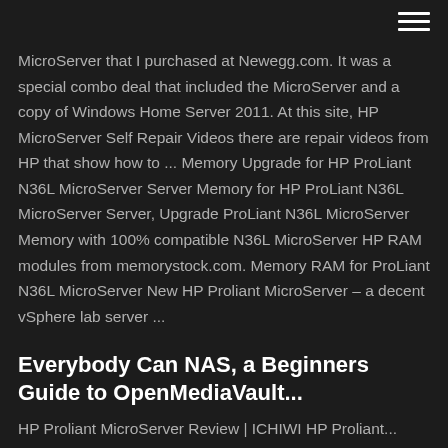hamburger menu icon
MicroServer that I purchased at Newegg.com. It was a special combo deal that included the MicroServer and a copy of Windows Home Server 2011. At this site, HP MicroServer Self Repair Videos there are repair videos from HP that show how to ... Memory Upgrade for HP ProLiant N36L MicroServer Server Memory for HP ProLiant N36L MicroServer Server, Upgrade ProLiant N36L MicroServer Memory with 100% compatible N36L MicroServer HP RAM modules from memorystock.com. Memory RAM for ProLiant N36L MicroServer New HP Proliant MicroServer – a decent vSphere lab server ...
Everybody Can NAS, a Beginners Guide to OpenMediaVault...
HP Proliant MicroServer Review | ICHIWI HP Proliant...